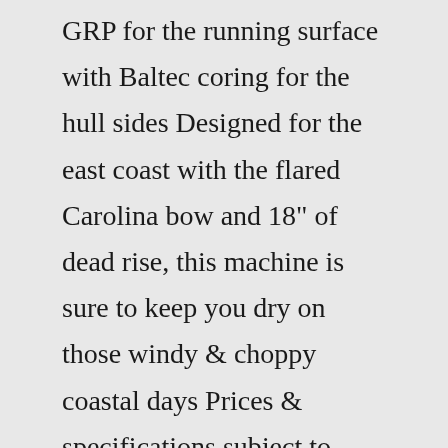GRP for the running surface with Baltec coring for the hull sides Designed for the east coast with the flared Carolina bow and 18" of dead rise, this machine is sure to keep you dry on those windy & choppy coastal days Prices & specifications subject to change without notice LOA: 34 ft 8 in Beam: 13 ft 0 in Maximum Draft: 3 ft 1 in Double Trouble Exterior -33 2006 Luhrs 41 41 Open We got aboard this boat recently